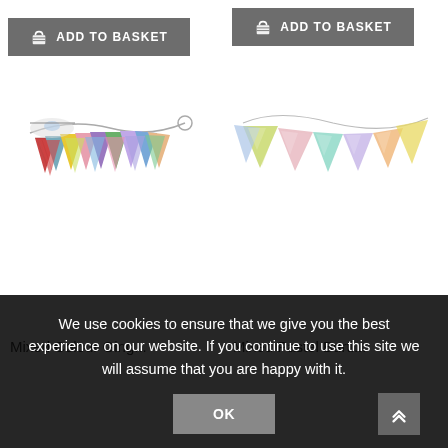[Figure (screenshot): E-commerce product listing page showing two bunting products with Add to Basket buttons, product images of colourful fabric bunting strings, and partially visible product names at the bottom. A cookie consent banner overlays the bottom of the page.]
We use cookies to ensure that we give you the best experience on our website. If you continue to use this site we will assume that you are happy with it.
OK